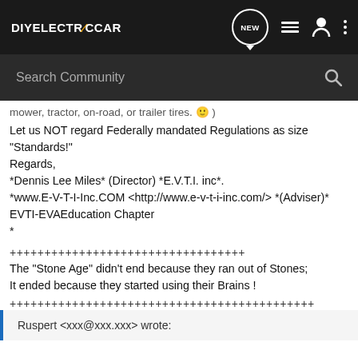DIYELECTRICCAR - navigation bar with NEW, list, user, and more icons
Search Community
mower, tractor, on-road, or trailer tires. 🙂 )
Let us NOT regard Federally mandated Regulations as size "Standards!"
Regards,
*Dennis Lee Miles* (Director) *E.V.T.I. inc*.
*www.E-V-T-I-Inc.COM <http://www.e-v-t-i-inc.com/> *(Adviser)*
EVTI-EVAEducation Chapter
*

++++++++++++++++++++++++++++++++++
The "Stone Age" didn't end because they ran out of Stones;
It ended because they started using their Brains !
++++++++++++++++++++++++++++++++++++++++++++
Ruspert <xxx@xxx.xxx> wrote: